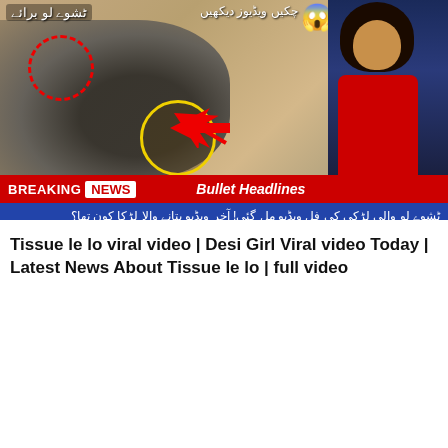[Figure (screenshot): Pakistani TV news broadcast screenshot showing a breaking news segment with a newsreader in red dress on the right, Urdu text overlays, red and yellow circle highlights on a blurred figure, red arrow, shock emoji, and BREAKING NEWS banner with 'Bullet Headlines' text]
Tissue le lo viral video | Desi Girl Viral video Today | Latest News About Tissue le lo | full video
[Figure (photo): Dark green muscle car (Chevrolet SS) with gold racing stripes, shown in a dark studio setting, with a small inset image of a white car on a road visible in the upper portion]